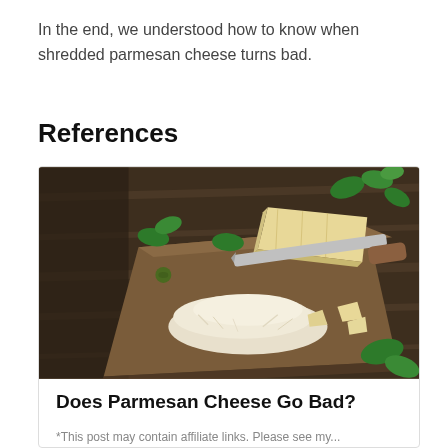In the end, we understood how to know when shredded parmesan cheese turns bad.
References
[Figure (photo): Photo of shredded and chunked parmesan cheese on a wooden cutting board, with fresh basil leaves, an olive, and a cheese knife in the background]
Does Parmesan Cheese Go Bad?
*This post may contain affiliate links. Please see my...